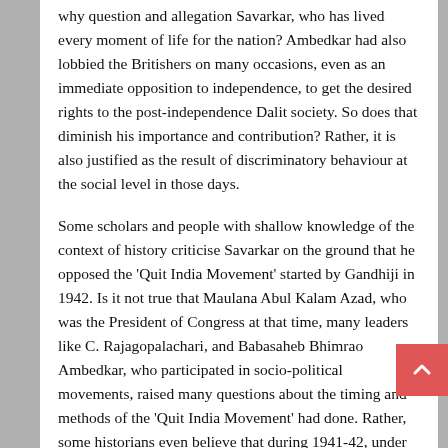why question and allegation Savarkar, who has lived every moment of life for the nation? Ambedkar had also lobbied the Britishers on many occasions, even as an immediate opposition to independence, to get the desired rights to the post-independence Dalit society. So does that diminish his importance and contribution? Rather, it is also justified as the result of discriminatory behaviour at the social level in those days.
Some scholars and people with shallow knowledge of the context of history criticise Savarkar on the ground that he opposed the 'Quit India Movement' started by Gandhiji in 1942. Is it not true that Maulana Abul Kalam Azad, who was the President of Congress at that time, many leaders like C. Rajagopalachari, and Babasaheb Bhimrao Ambedkar, who participated in socio-political movements, raised many questions about the timing and methods of the 'Quit India Movement' had done. Rather, some historians even believe that during 1941-42, under the pressure of plans and efforts of the armed military struggle waged by Netaji Subhash Chandra Bose against the British for the independence